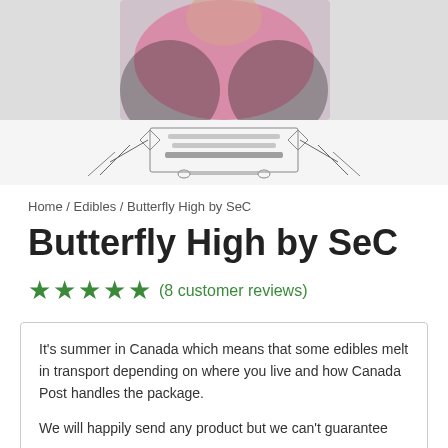[Figure (photo): Blurred product banner image showing a person in pink clothing with decorative botanical line art border and text reading nailproductsbysec.com]
Home / Edibles / Butterfly High by SeC
Butterfly High by SeC
★★★★★ (8 customer reviews)
It's summer in Canada which means that some edibles melt in transport depending on where you live and how Canada Post handles the package.

We will happily send any product but we can't guarantee